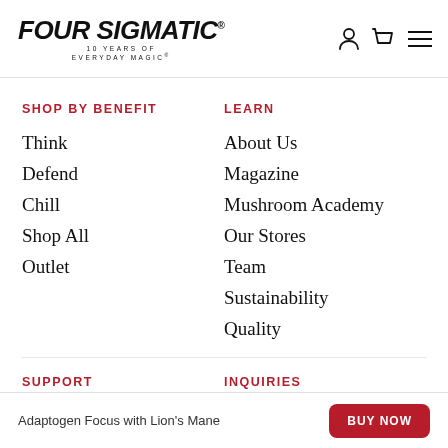Four Sigmatic® — 10 Years of Everyday Magic®
SHOP BY BENEFIT
Think
Defend
Chill
Shop All
Outlet
LEARN
About Us
Magazine
Mushroom Academy
Our Stores
Team
Sustainability
Quality
SUPPORT
INQUIRIES
Adaptogen Focus with Lion's Mane — BUY NOW